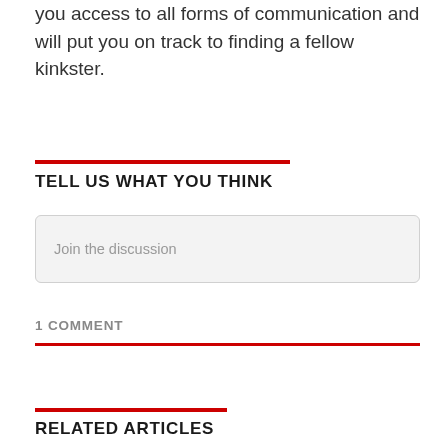you access to all forms of communication and will put you on track to finding a fellow kinkster.
TELL US WHAT YOU THINK
Join the discussion
1 COMMENT
RELATED ARTICLES